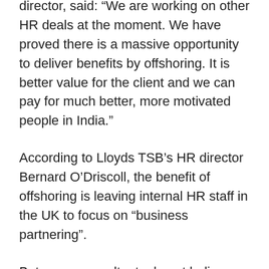director, said: “We are working on other HR deals at the moment. We have proved there is a massive opportunity to deliver benefits by offshoring. It is better value for the client and we can pay for much better, more motivated people in India.”
According to Lloyds TSB’s HR director Bernard O’Driscoll, the benefit of offshoring is leaving internal HR staff in the UK to focus on “business partnering”.
But many consultants do not believe current HR professionals are up to this emerging role. More than half of the 195 executives that responded to an HR Outsourcing Association survey cited a lack of skills